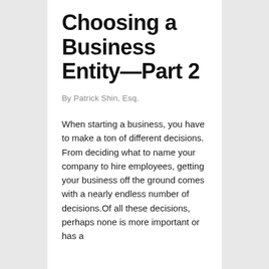Choosing a Business Entity—Part 2
By Patrick Shin, Esq.
When starting a business, you have to make a ton of different decisions. From deciding what to name your company to hire employees, getting your business off the ground comes with a nearly endless number of decisions.Of all these decisions, perhaps none is more important or has a